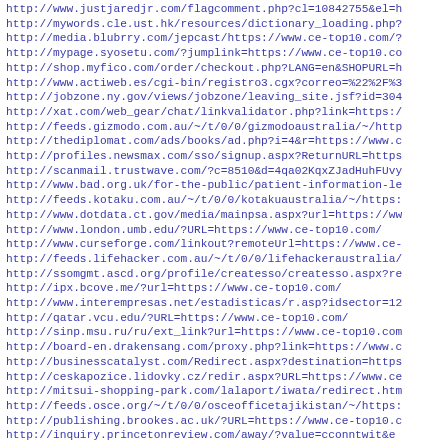http://www.justjaredjr.com/flagcomment.php?cl=10842755&el=h
http://mywords.cle.ust.hk/resources/dictionary_loading.php?
http://media.blubrry.com/jepcast/https://www.ce-top10.com/?
http://mypage.syosetu.com/?jumplink=https://www.ce-top10.co
http://shop.myfico.com/order/checkout.php?LANG=en&SHOPURL=h
http://www.actiweb.es/cgi-bin/registro3.cgx?correo=%22%2F%3
http://jobzone.ny.gov/views/jobzone/leaving_site.jsf?id=304
http://xat.com/web_gear/chat/linkvalidator.php?link=https:/
http://feeds.gizmodo.com.au/~/t/0/0/gizmodoaustralia/~/http
http://thediplomat.com/ads/books/ad.php?i=4&r=https://www.c
http://profiles.newsmax.com/sso/signup.aspx?ReturnURL=https
http://scanmail.trustwave.com/?c=8510&d=4qa02KqxZJadHuhFUvy
http://www.bad.org.uk/for-the-public/patient-information-le
http://feeds.kotaku.com.au/~/t/0/0/kotakuaustralia/~/https:
http://www.dotdata.ct.gov/media/mainpsa.aspx?url=https://ww
http://www.london.umb.edu/?URL=https://www.ce-top10.com/
http://www.curseforge.com/linkout?remoteUrl=https://www.ce-
http://feeds.lifehacker.com.au/~/t/0/0/lifehackeraustralia/
http://ssomgmt.ascd.org/profile/createsso/createsso.aspx?re
http://ipx.bcove.me/?url=https://www.ce-top10.com/
http://www.interempresas.net/estadisticas/r.asp?idsector=12
http://qatar.vcu.edu/?URL=https://www.ce-top10.com/
http://sinp.msu.ru/ru/ext_link?url=https://www.ce-top10.com
http://board-en.drakensang.com/proxy.php?link=https://www.c
http://businesscatalyst.com/Redirect.aspx?destination=https
http://ceskapozice.lidovky.cz/redir.aspx?URL=https://www.ce
http://mitsui-shopping-park.com/lalaport/iwata/redirect.htm
http://feeds.osce.org/~/t/0/0/osceofficetajikistan/~/https:
http://publishing.brookes.ac.uk/?URL=https://www.ce-top10.c
http://inquiry.princetonreview.com/away/?value=cconntwit&e